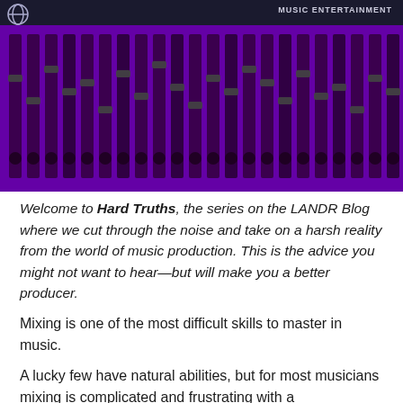LANDR BLOG
[Figure (photo): Purple-tinted overhead view of a mixing console/audio board with many faders and knobs]
Welcome to Hard Truths, the series on the LANDR Blog where we cut through the noise and take on a harsh reality from the world of music production. This is the advice you might not want to hear—but will make you a better producer.
Mixing is one of the most difficult skills to master in music.
A lucky few have natural abilities, but for most musicians mixing is complicated and frustrating with a